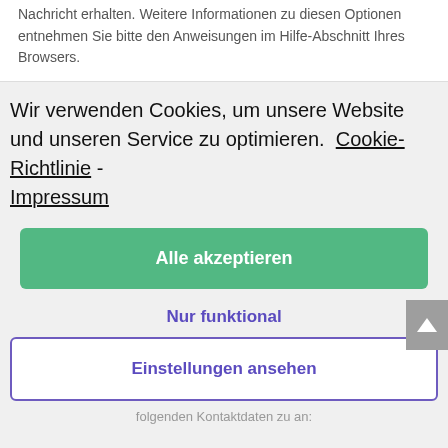Nachricht erhalten. Weitere Informationen zu diesen Optionen entnehmen Sie bitte den Anweisungen im Hilfe-Abschnitt Ihres Browsers.
Wir verwenden Cookies, um unsere Website und unseren Service zu optimieren.  Cookie-Richtlinie - Impressum
Alle akzeptieren
Nur funktional
Einstellungen ansehen
folgenden Kontaktdaten zu an: